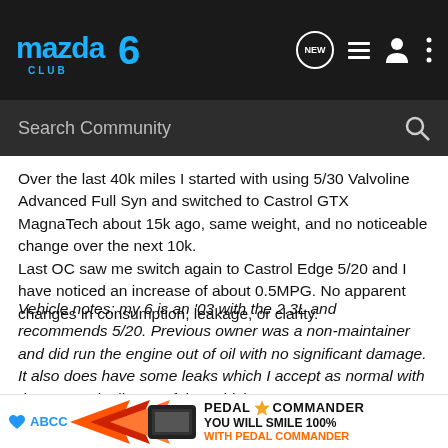Mazda 6 Club — navigation header with logo, NEW, list, user, and more icons
Search Community
Over the last 40k miles I started with using 5/30 Valvoline Advanced Full Syn and switched to Castrol GTX MagnaTech about 15k ago, same weight, and no noticeable change over the next 10k.
Last OC saw me switch again to Castrol Edge 5/20 and I have noticed an increase of about 0.5MPG. No apparent changes in consumption, leakage, or clarity.
Vehicle notes: my 6 is an '03 with the 2.3L and recommends 5/20. Previous owner was a non-maintainer and did run the engine out of oil with no significant damage. It also does have some leaks which I accept as normal with the age and mileage of the vehicle.
[Figure (screenshot): Pedal Commander advertisement banner with orange/black arrow graphic, Pedal Commander logo with star, and text 'YOU WILL SMILE 100% WITH PEDAL COMMANDER']